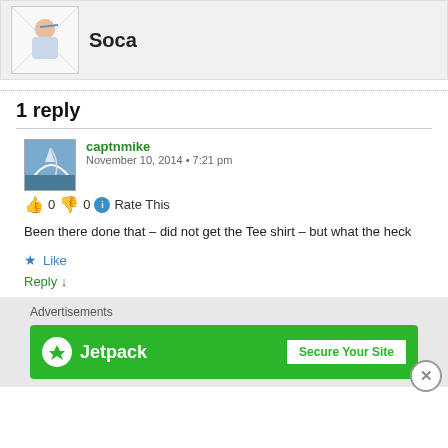[Figure (illustration): Partial view of an anime-style illustration with a character in striped clothing, partially cropped at top]
1 reply
[Figure (photo): Avatar image of captnmike showing a sailing boat]
captnmike
November 10, 2014 • 7:21 pm
👍 0 👎 0 ℹ Rate This
Been there done that – did not get the Tee shirt – but what the heck
★ Like
Reply ↓
Advertisements
[Figure (logo): Jetpack advertisement banner with green background, Jetpack logo on left and 'Secure Your Site' button on right]